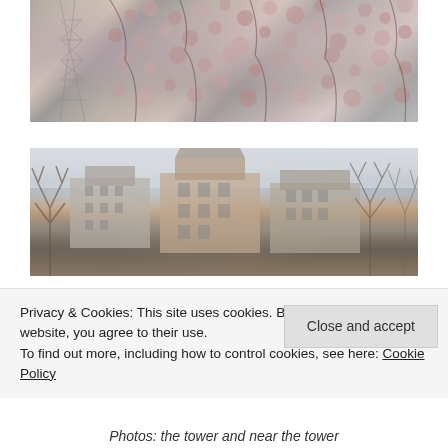[Figure (photo): Photo of Eiffel Tower lattice visible through pink blossoming tree branches against a grey sky]
[Figure (photo): Photo of Parisian apartment buildings with mansard roofs surrounded by bare winter trees, overcast sky]
Privacy & Cookies: This site uses cookies. By continuing to use this website, you agree to their use.
To find out more, including how to control cookies, see here: Cookie Policy
Close and accept
Photos: the tower and near the tower